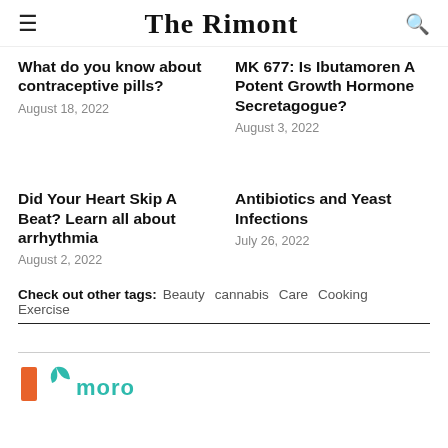The Rimont
What do you know about contraceptive pills?
August 18, 2022
MK 677: Is Ibutamoren A Potent Growth Hormone Secretagogue?
August 3, 2022
Did Your Heart Skip A Beat? Learn all about arrhythmia
August 2, 2022
Antibiotics and Yeast Infections
July 26, 2022
Check out other tags: Beauty cannabis Care Cooking Exercise
[Figure (logo): Partial footer logo with orange block and teal leaf/brand mark]